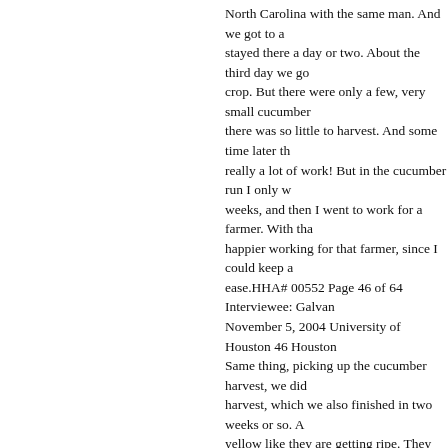North Carolina with the same man. And we got to a stayed there a day or two. About the third day we go crop. But there were only a few, very small cucumber there was so little to harvest. And some time later th really a lot of work! But in the cucumber run I only w weeks, and then I went to work for a farmer. With tha happier working for that farmer, since I could keep a ease.HHA# 00552 Page 46 of 64 Interviewee: Galvan November 5, 2004 University of Houston 46 Houston Same thing, picking up the cucumber harvest, we did harvest, which we also finished in two weeks or so. A yellow like they are getting ripe. They get that appea be harvested. JG When they begin to turn yellow. DG way. The leaves from the bottom are the first to turn tree and from another and another, like that. A week and so on. We do about five cuts, until we cut the lea JG During which month do you do this? DG That was t tobacco run came to an end, around the 4' of Septem all the work with that farmer, tobacco and cucumber some of my companions had a small truck, a Station that area. And we arrived to a place called Mount Ja apple harvest, nothing but apples. We picked apples remember the name of that kind of apple; it is a very very carefully, we had to be careful not to squeeze it couldn't drop it either because it would get bruised.